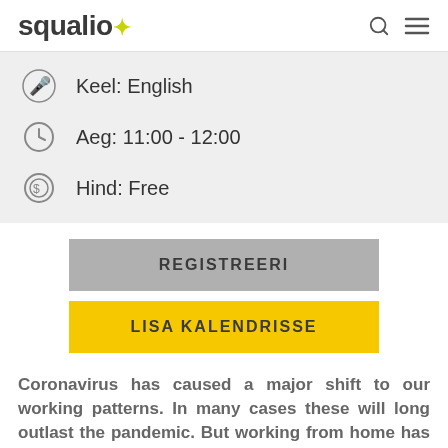squalio
Keel: English
Aeg: 11:00 - 12:00
Hind: Free
REGISTREERI
LISA KALENDRISSE
Coronavirus has caused a major shift to our working patterns. In many cases these will long outlast the pandemic. But working from home has its own risks.